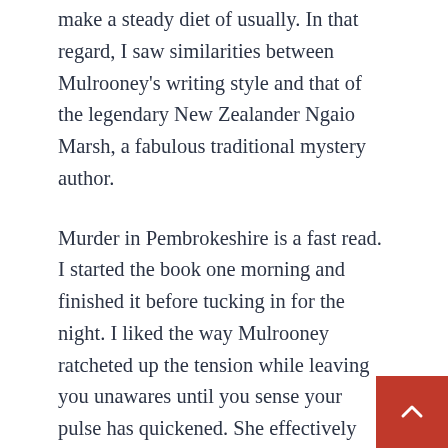make a steady diet of usually. In that regard, I saw similarities between Mulrooney's writing style and that of the legendary New Zealander Ngaio Marsh, a fabulous traditional mystery author.
Murder in Pembrokeshire is a fast read. I started the book one morning and finished it before tucking in for the night. I liked the way Mulrooney ratcheted up the tension while leaving you unawares until you sense your pulse has quickened. She effectively kept me in the dark about the murderer's identity until the very end, and who it turned out to be was a complete surprise.
Recommendation
If you love traditional British mysteries, Murder